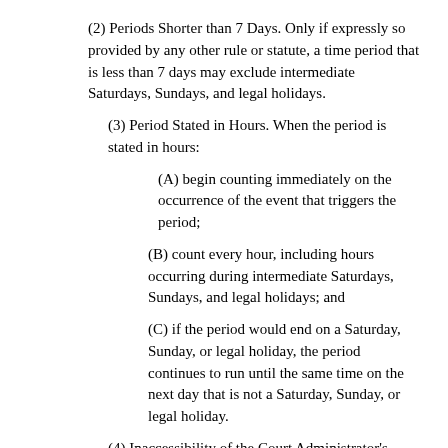(2) Periods Shorter than 7 Days. Only if expressly so provided by any other rule or statute, a time period that is less than 7 days may exclude intermediate Saturdays, Sundays, and legal holidays.
(3) Period Stated in Hours. When the period is stated in hours:
(A) begin counting immediately on the occurrence of the event that triggers the period;
(B) count every hour, including hours occurring during intermediate Saturdays, Sundays, and legal holidays; and
(C) if the period would end on a Saturday, Sunday, or legal holiday, the period continues to run until the same time on the next day that is not a Saturday, Sunday, or legal holiday.
(4) Inaccessibility of the Court Administrator's Office. Unless the court orders otherwise, if the court administrator's office is inaccessible:
(A) on the last day for filing or service under Rule 6.01(a)(1), then the time for filing is extended to the first